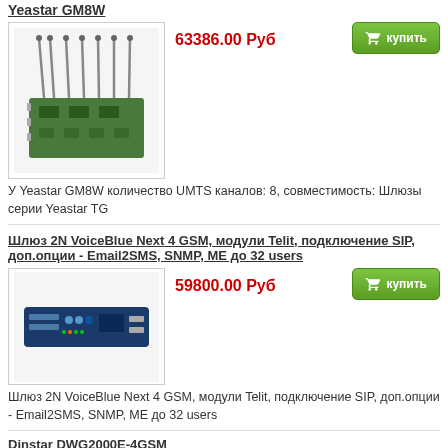Yeastar GM8W
[Figure (photo): Photo of Yeastar GM8W UMTS module with antennas on a circuit board]
63386.00 Руб
У Yeastar GM8W количество UMTS каналов: 8, совместимость: Шлюзы серии Yeastar TG
Шлюз 2N VoiceBlue Next 4 GSM, модули Telit, подключение SIP, доп.опции - Email2SMS, SNMP, ME до 32 users
[Figure (photo): Photo of 2N VoiceBlue Next 4 GSM gateway device]
59800.00 Руб
Шлюз 2N VoiceBlue Next 4 GSM, модули Telit, подключение SIP, доп.опции - Email2SMS, SNMP, ME до 32 users
Dinstar DWG2000E-4GSM
[Figure (photo): Photo of Dinstar DWG2000E-4GSM gateway device]
33080.00 Руб